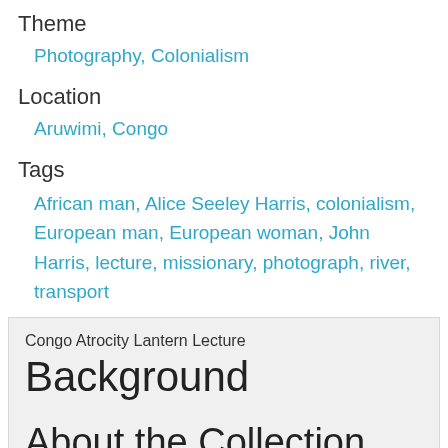Theme
Photography, Colonialism
Location
Aruwimi, Congo
Tags
African man, Alice Seeley Harris, colonialism, European man, European woman, John Harris, lecture, missionary, photograph, river, transport
Congo Atrocity Lantern Lecture
Background
About the Collection